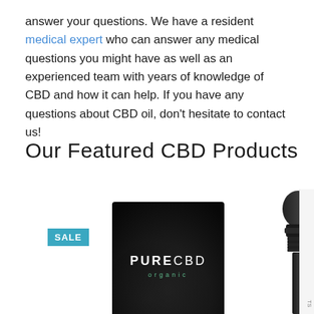answer your questions. We have a resident medical expert who can answer any medical questions you might have as well as an experienced team with years of knowledge of CBD and how it can help. If you have any questions about CBD oil, don't hesitate to contact us!
Our Featured CBD Products
[Figure (photo): Product photo showing a PureCBD Organic dark box with a SALE badge on the left, and a black dropper/pipette on the right. A partial white card is visible at the far right edge.]